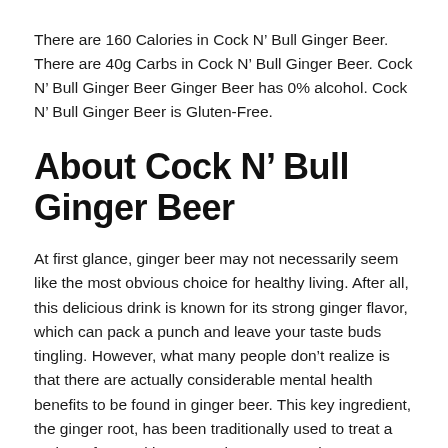There are 160 Calories in Cock N’ Bull Ginger Beer. There are 40g Carbs in Cock N’ Bull Ginger Beer. Cock N’ Bull Ginger Beer Ginger Beer has 0% alcohol. Cock N’ Bull Ginger Beer is Gluten-Free.
About Cock N’ Bull Ginger Beer
At first glance, ginger beer may not necessarily seem like the most obvious choice for healthy living. After all, this delicious drink is known for its strong ginger flavor, which can pack a punch and leave your taste buds tingling. However, what many people don’t realize is that there are actually considerable mental health benefits to be found in ginger beer. This key ingredient, the ginger root, has been traditionally used to treat a variety of mental issues such as memory loss, dementia, and